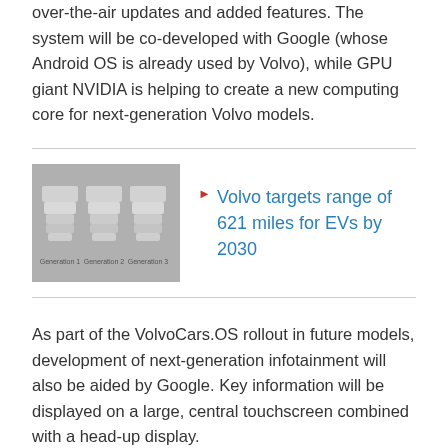over-the-air updates and added features. The system will be co-developed with Google (whose Android OS is already used by Volvo), while GPU giant NVIDIA is helping to create a new computing core for next-generation Volvo models.
[Figure (photo): Photo showing multiple white plastic/foam automotive component models or prototypes arranged in three groups on a gray background.]
Volvo targets range of 621 miles for EVs by 2030
As part of the VolvoCars.OS rollout in future models, development of next-generation infotainment will also be aided by Google. Key information will be displayed on a large, central touchscreen combined with a head-up display.